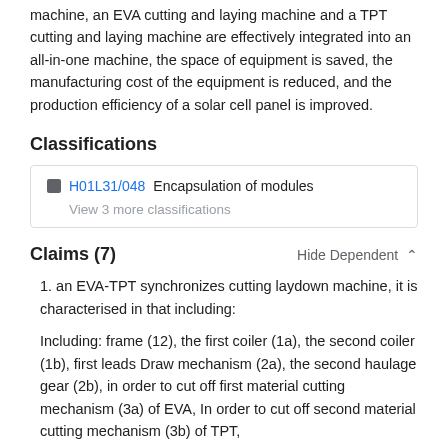According to the EVA-TPT synchronizes cutting and laying machine, an EVA cutting and laying machine and a TPT cutting and laying machine are effectively integrated into an all-in-one machine, the space of equipment is saved, the manufacturing cost of the equipment is reduced, and the production efficiency of a solar cell panel is improved.
Classifications
| H01L31/048  Encapsulation of modules |
| View 3 more classifications |
Claims (7)
1. an EVA-TPT synchronizes cutting laydown machine, it is characterised in that including:
Including: frame (12), the first coiler (1a), the second coiler (1b), first leads Draw mechanism (2a), the second haulage gear (2b), in order to cut off first material cutting mechanism (3a) of EVA, In order to cut off second material cutting mechanism (3b) of TPT,